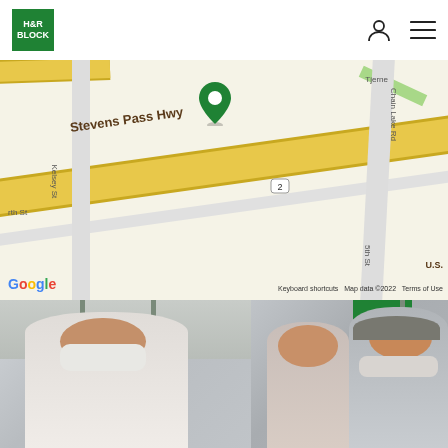[Figure (logo): H&R Block green square logo with white text]
[Figure (map): Google Maps view showing Stevens Pass Hwy with a green location pin, showing Kelsey St, Chain Lake Rd, and US route 2 shield. Google branding and map credits visible at bottom.]
[Figure (photo): Photo of H&R Block office exterior/interior with two scenes: left shows a masked tax professional in white coat, right shows two masked clients (woman and older man in flat cap) near a green H&R Block sign panel.]